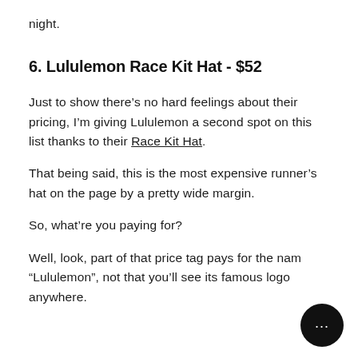night.
6. Lululemon Race Kit Hat - $52
Just to show there’s no hard feelings about their pricing, I’m giving Lululemon a second spot on this list thanks to their Race Kit Hat.
That being said, this is the most expensive runner’s hat on the page by a pretty wide margin.
So, what’re you paying for?
Well, look, part of that price tag pays for the name “Lululemon”, not that you’ll see its famous logo anywhere.